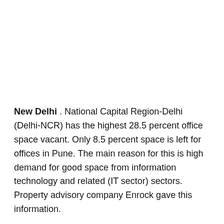New Delhi . National Capital Region-Delhi (Delhi-NCR) has the highest 28.5 percent office space vacant. Only 8.5 percent space is left for offices in Pune. The main reason for this is high demand for good space from information technology and related (IT sector) sectors. Property advisory company Enrock gave this information.
According to the data of first-class office space in seven major cities of the country, Chennai has 10.35 per cent, Bengaluru 11.25 per cent and Hyderabad 15 per cent space or space left for offices. In a statement, Enrock said that